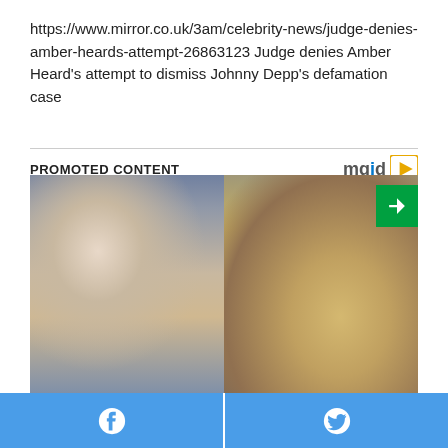https://www.mirror.co.uk/3am/celebrity-news/judge-denies-amber-heards-attempt-26863123 Judge denies Amber Heard's attempt to dismiss Johnny Depp's defamation case
PROMOTED CONTENT
[Figure (photo): Promotional image split in two: left side shows a blonde woman in a grey sweater lifting it to reveal toned abs; right side shows a wooden spoon with brown powder (supplement/spice).]
Facebook share button | Twitter share button